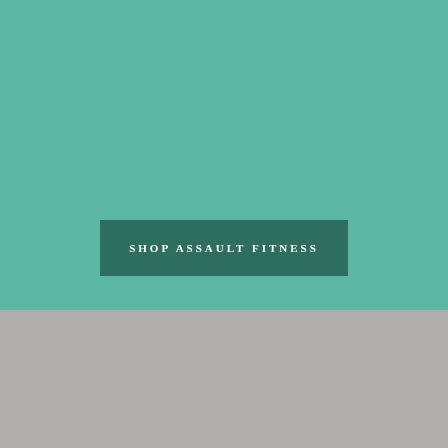[Figure (other): Teal/green background section occupying the upper portion of the page]
SHOP ASSAULT FITNESS
[Figure (other): Gray background section occupying the lower portion of the page]